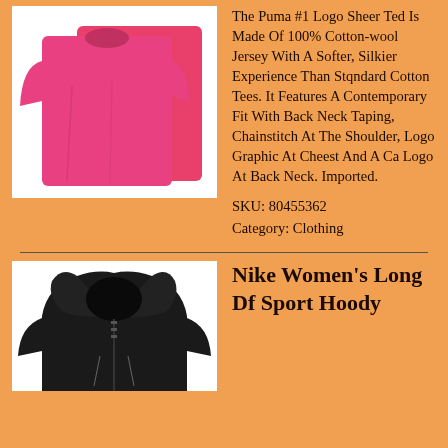[Figure (photo): Two pink Puma t-shirts laid flat on a white background]
The Puma #1 Logo Sheer Ted Is Made Of 100% Cotton-wool Jersey With A Softer, Silkier Experience Than Stqndard Cotton Tees. It Features A Contemporary Fit With Back Neck Taping, Chainstitch At The Shoulder, Logo Graphic At Cheest And A Ca Logo At Back Neck. Imported.
SKU: 80455362
Category: Clothing
[Figure (photo): Black Nike women's zip-up hoodie shown from front]
Nike Women's Long Df Sport Hoody